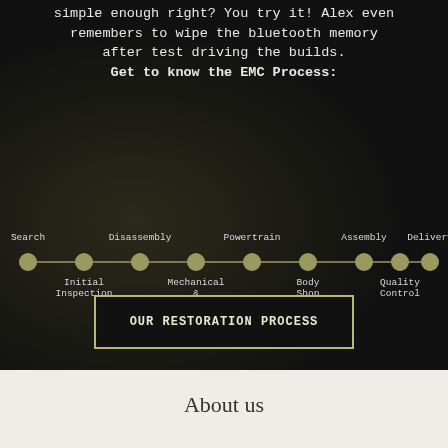simple enough right? You try it! Alex even remembers to wipe the bluetooth memory after test driving the builds.
Get to know the EMC Process:
[Figure (flowchart): Horizontal process diagram showing 9 steps connected by a line with circular nodes: Search, Initial Inspection, Disassembly, Mechanical & Electrical Shop, Powertrain, Body Shop, Assembly, Quality Control, Delivery. Labels alternate above and below the line.]
OUR RESTORATION PROCESS
About us